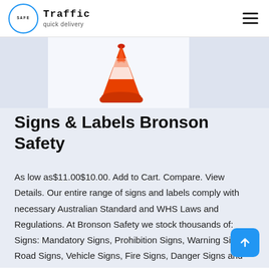Safe Traffic — quick delivery
[Figure (photo): Orange traffic cone product image on light blue background]
Signs & Labels Bronson Safety
As low as$11.00$10.00. Add to Cart. Compare. View Details. Our entire range of signs and labels comply with necessary Australian Standard and WHS Laws and Regulations. At Bronson Safety we stock thousands of: Signs: Mandatory Signs, Prohibition Signs, Warning Signs, Road Signs, Vehicle Signs, Fire Signs, Danger Signs and